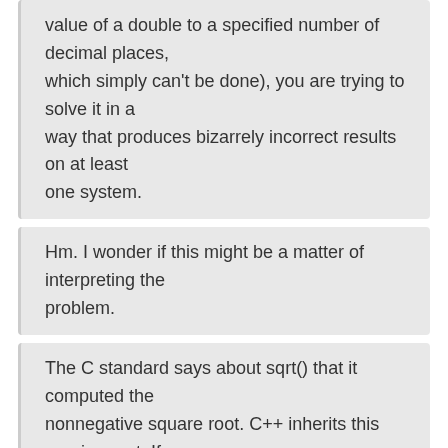value of a double to a specified number of decimal places, which simply can't be done), you are trying to solve it in a way that produces bizarrely incorrect results on at least one system.
Hm. I wonder if this might be a matter of interpreting the problem.
The C standard says about sqrt() that it computed the nonnegative square root. C++ inherits this requirement. If your interpretation of the rounding problem is correct and if